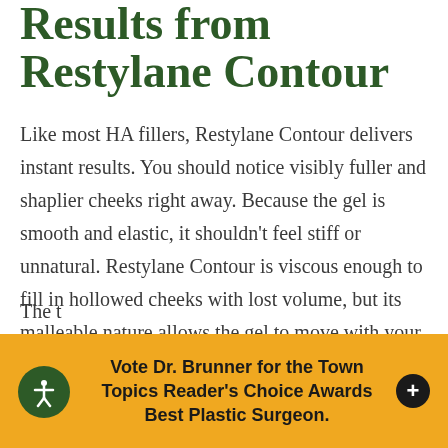Results from Restylane Contour
Like most HA fillers, Restylane Contour delivers instant results. You should notice visibly fuller and shaplier cheeks right away. Because the gel is smooth and elastic, it shouldn't feel stiff or unnatural. Restylane Contour is viscous enough to fill in hollowed cheeks with lost volume, but its malleable nature allows the gel to move with your facial expressions for a natural look and feel.
The t
[Figure (other): Yellow notification banner with accessibility icon and plus button reading: Vote Dr. Brunner for the Town Topics Reader's Choice Awards Best Plastic Surgeon.]